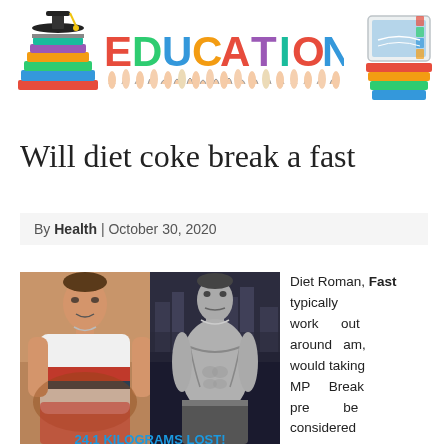[Figure (illustration): Education logo banner with colorful stacked books on left, 'EDUCATION' text with colorful letters and hands in center, and stacked books/tablet on right]
Will diet coke break a fast
By Health | October 30, 2020
[Figure (photo): Before and after weight loss photos: left shows overweight man in white and red striped shirt, right shows lean muscular man shirtless in black and white]
24.1 KILOGRAMS LOST!
Diet Roman, Fast typically work out around am, would taking MP Break pre be considered